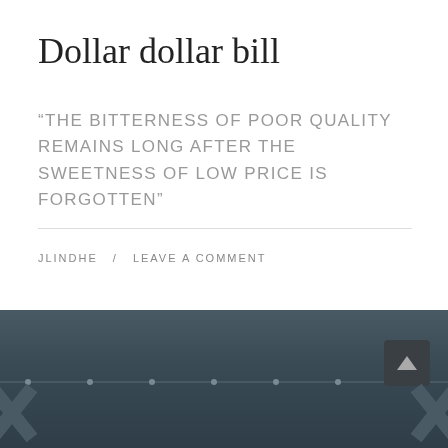Dollar dollar bill
“THE BITTERNESS OF POOR QUALITY REMAINS LONG AFTER THE SWEETNESS OF LOW PRICE IS FORGOTTEN”
JLINDHE  /  LEAVE A COMMENT
[Figure (other): Dark blue-grey footer/navigation bar with decorative X shapes at bottom corners and small dot accents along a horizontal line, with a back-to-top button (upward chevron) in the lower right]